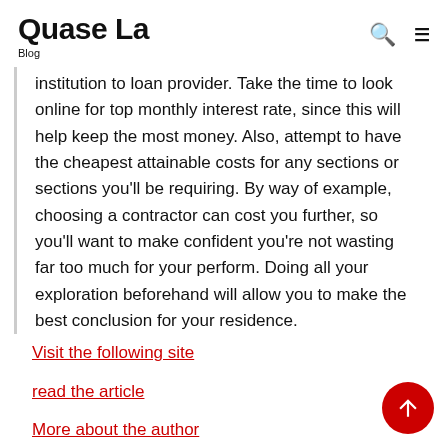Quase La
Blog
institution to loan provider. Take the time to look online for top monthly interest rate, since this will help keep the most money. Also, attempt to have the cheapest attainable costs for any sections or sections you'll be requiring. By way of example, choosing a contractor can cost you further, so you'll want to make confident you're not wasting far too much for your perform. Doing all your exploration beforehand will allow you to make the best conclusion for your residence.
Visit the following site
read the article
More about the author
here